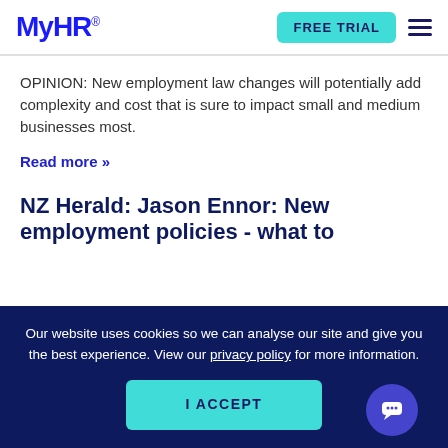MyHR® FREE TRIAL [menu]
OPINION: New employment law changes will potentially add complexity and cost that is sure to impact small and medium businesses most.
Read more »
NZ Herald: Jason Ennor: New employment policies - what to
Our website uses cookies so we can analyse our site and give you the best experience. View our privacy policy for more information.
I ACCEPT